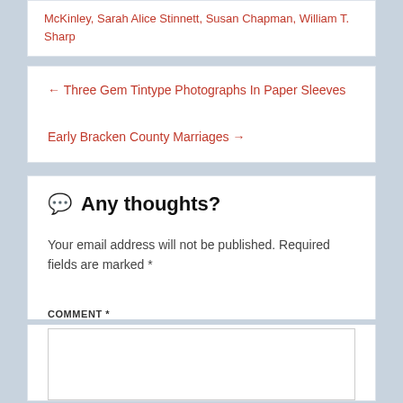McKinley, Sarah Alice Stinnett, Susan Chapman, William T. Sharp
← Three Gem Tintype Photographs In Paper Sleeves
Early Bracken County Marriages →
💬 Any thoughts?
Your email address will not be published. Required fields are marked *
COMMENT *